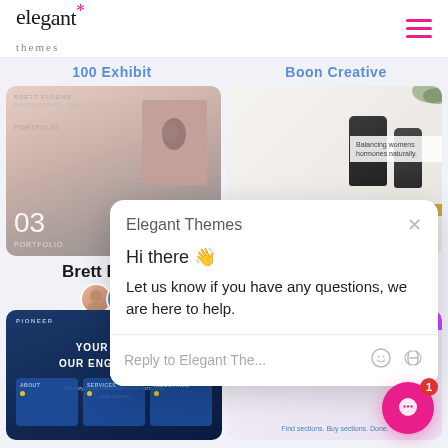elegant*themes — navigation header with hamburger menu
100 Exhibit
Boon Creative
[Figure (screenshot): Wedding photography website thumbnail showing couple kissing photo and number 03]
[Figure (screenshot): Natural beauty product website thumbnail with dark bottles and 'Balancing womens hormones naturally' text]
Brett Floens
[Figure (screenshot): Engineering website thumbnail with blue background reading YOUR VISION OUR ENGINEERING with About, Services, Industries cards]
[Figure (screenshot): Creative/design website thumbnail with purple gradient and Find sections. Buy sections. Done. text]
[Figure (screenshot): Elegant Themes chat popup overlay showing Hi there wave emoji, Let us know if you have any questions, we are here to help. with Reply input field and chat bubble button showing badge 1]